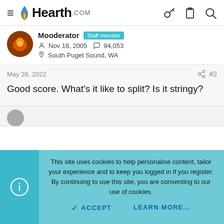Hearth.com
Mooderator Staff member
Nov 18, 2005   94,053
South Puget Sound, WA
May 26, 2022    #2
Good score. What's it like to split? Is it stringy?
This site uses cookies to help personalise content, tailor your experience and to keep you logged in if you register. By continuing to use this site, you are consenting to our use of cookies.
ACCEPT   LEARN MORE...